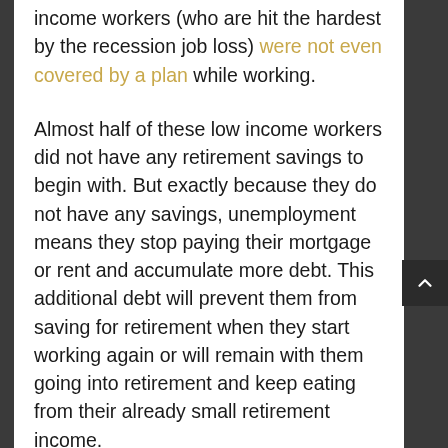income workers (who are hit the hardest by the recession job loss) were not even covered by a plan while working.
Almost half of these low income workers did not have any retirement savings to begin with. But exactly because they do not have any savings, unemployment means they stop paying their mortgage or rent and accumulate more debt. This additional debt will prevent them from saving for retirement when they start working again or will remain with them going into retirement and keep eating from their already small retirement income.
The drastic job loss experienced by older